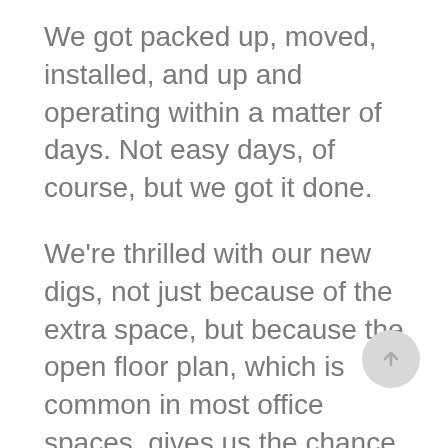We got packed up, moved, installed, and up and operating within a matter of days. Not easy days, of course, but we got it done.
We're thrilled with our new digs, not just because of the extra space, but because the open floor plan, which is common in most office spaces, gives us the chance to make Cinergy Construction LA a design lab and case study for modern architectural office acoustics. We're going to use our considerable noise control and acoustical enhancement expertise to make our collaborative work environment acoustically comfortable for everyone. This space